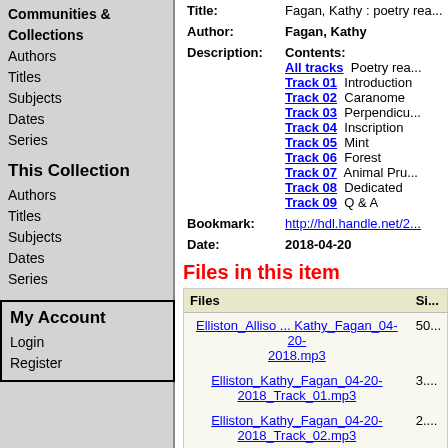Communities & Collections
Authors
Titles
Subjects
Dates
Series
This Collection
Authors
Titles
Subjects
Dates
Series
My Account
Login
Register
| Field | Value |
| --- | --- |
| Title: | Fagan, Kathy : poetry rea... |
| Author: | Fagan, Kathy |
| Description: | Contents:
All tracks  Poetry rea...
Track 01  Introduction
Track 02  Caranome
Track 03  Perpendicu...
Track 04  Inscription
Track 05  Mint
Track 06  Forest
Track 07  Animal Pru...
Track 08  Dedicated
Track 09  Q & A |
| Bookmark: | http://hdl.handle.net/2... |
| Date: | 2018-04-20 |
Files in this item
| Files | Si... |
| --- | --- |
| Elliston_Alliso ... Kathy_Fagan_04-20-2018.mp3 | 50... |
| Elliston_Kathy_Fagan_04-20-2018_Track_01.mp3 | 3.... |
| Elliston_Kathy_Fagan_04-20-2018_Track_02.mp3 | 2.... |
| Elliston_Kathy_Fagan_04-20- | 2.... |